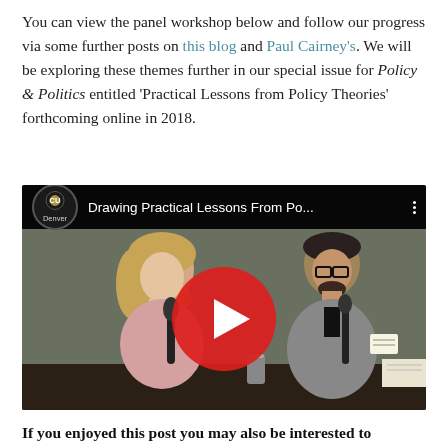You can view the panel workshop below and follow our progress via some further posts on this blog and Paul Cairney's. We will be exploring these themes further in our special issue for Policy & Politics entitled 'Practical Lessons from Policy Theories' forthcoming online in 2018.
[Figure (screenshot): YouTube video embed thumbnail showing two panelists at a table with microphones, with YouTube play button overlay. Video title: 'Drawing Practical Lessons From Po...' with University of Colorado Denver logo.]
If you enjoyed this post you may also be interested to